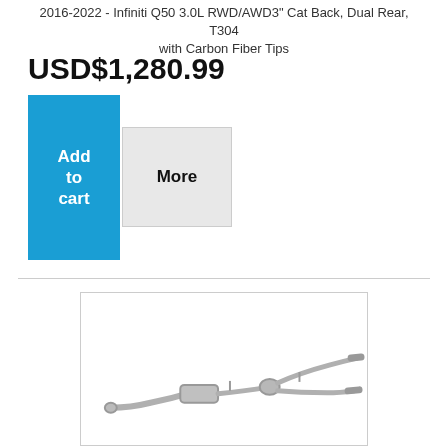2016-2022 - Infiniti Q50 3.0L RWD/AWD3" Cat Back, Dual Rear, T304 with Carbon Fiber Tips
USD$1,280.99
[Figure (screenshot): Add to cart button (blue) and More button (gray) side by side]
[Figure (photo): Product photo of a cat-back exhaust system for Infiniti Q50, showing stainless steel pipes with Y-pipe and dual rear exits]